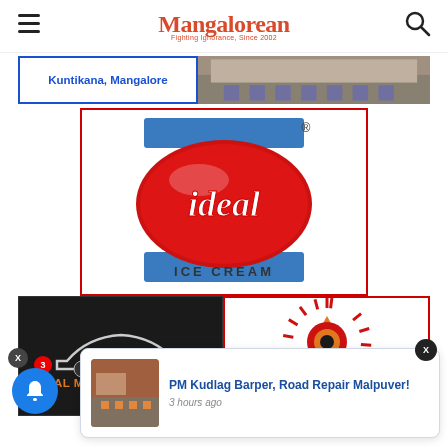Mangalorean
[Figure (logo): Kuntikana, Mangalore ad banner with blue text and building photo]
[Figure (logo): Ideal Ice Cream logo - red oval on blue background with ICE CREAM text]
[Figure (logo): Al Mazroui & Clevy Automobile Serv LLC - dark background with car silhouette and orange text]
[Figure (logo): Alva's Education Foundation logo - red sunburst with target circles and text]
PM Kudlag Barper, Road Repair Malpuver!
3 hours ago